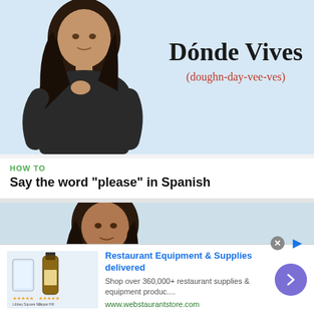[Figure (screenshot): Video thumbnail showing a woman with dark hair standing against a light blue background. On the right side text reads 'Dónde Vives' in large serif font with pronunciation '(doughn-day-vee-ves)' in red below.]
HOW TO
Say the word "please" in Spanish
[Figure (screenshot): Second video thumbnail showing a woman with dark hair against a light background, partially visible text on the right side starting with 'Adi...']
Restaurant Equipment & Supplies delivered
Shop over 360,000+ restaurant supplies & equipment produc....
www.webstaurantstore.com